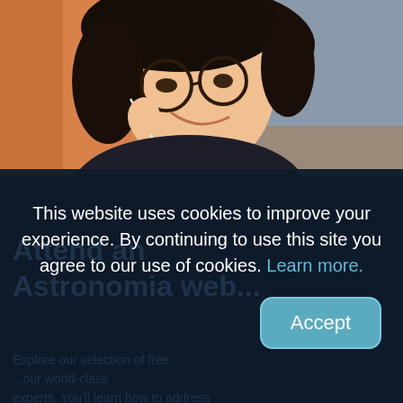[Figure (photo): A smiling young Asian woman wearing round glasses and earphones, photographed from slightly above, with a blurred indoor background. The photo occupies the top portion of the page.]
This website uses cookies to improve your experience. By continuing to use this site you agree to our use of cookies. Learn more.